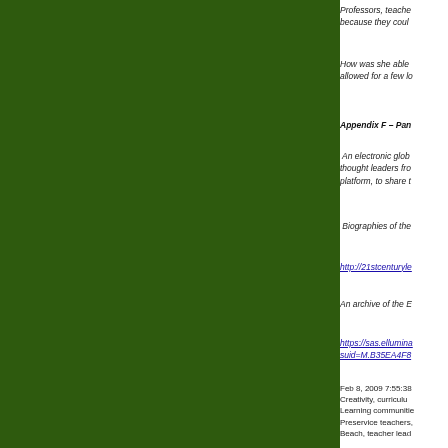Professors, teachers, because they could
How was she able allowed for a few lo
Appendix F – Pan
An electronic glob thought leaders fro platform, to share t
Biographies of the
http://21stcenturyle
An archive of the E
https://sas.ellumina suid=M.B35EA4F8
Feb 8, 2009 7:55:38 Creativity, curriculu Learning communitie Preservice teachers, Beach, teacher lead